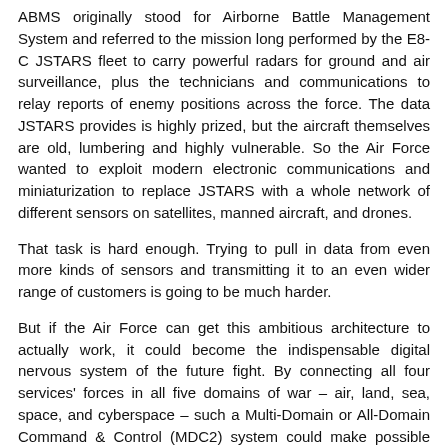ABMS originally stood for Airborne Battle Management System and referred to the mission long performed by the E8-C JSTARS fleet to carry powerful radars for ground and air surveillance, plus the technicians and communications to relay reports of enemy positions across the force. The data JSTARS provides is highly prized, but the aircraft themselves are old, lumbering and highly vulnerable. So the Air Force wanted to exploit modern electronic communications and miniaturization to replace JSTARS with a whole network of different sensors on satellites, manned aircraft, and drones.
That task is hard enough. Trying to pull in data from even more kinds of sensors and transmitting it to an even wider range of customers is going to be much harder.
But if the Air Force can get this ambitious architecture to actually work, it could become the indispensable digital nervous system of the future fight. By connecting all four services' forces in all five domains of war – air, land, sea, space, and cyberspace – such a Multi-Domain or All-Domain Command & Control (MDC2) system could make possible new kinds of high-speed, seamlessly coordinated combat operations that would give the US a much-needed edge.